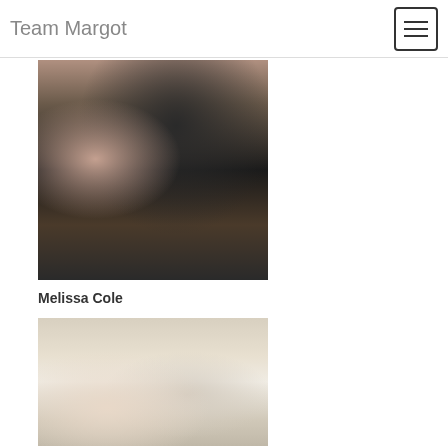Team Margot
[Figure (photo): Cropped photo showing two people in formal attire, one wearing a black lace dress giving a thumbs up, the other in a beige/tan outfit, partial view of faces]
Melissa Cole
[Figure (photo): Photo of two smiling women, one younger with brown hair and one older with blonde hair and glasses, at what appears to be an indoor event]